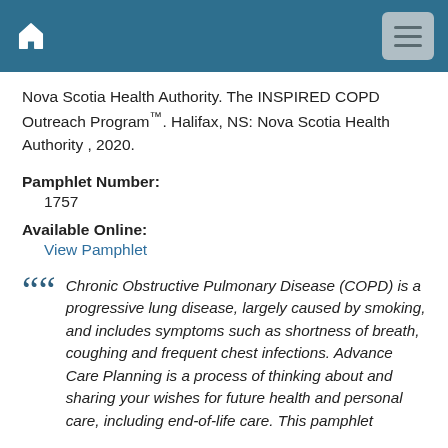Nova Scotia Health Authority header with home icon and menu button
Nova Scotia Health Authority. The INSPIRED COPD Outreach Program™. Halifax, NS: Nova Scotia Health Authority , 2020.
Pamphlet Number:
1757
Available Online:
View Pamphlet
Chronic Obstructive Pulmonary Disease (COPD) is a progressive lung disease, largely caused by smoking, and includes symptoms such as shortness of breath, coughing and frequent chest infections. Advance Care Planning is a process of thinking about and sharing your wishes for future health and personal care, including end-of-life care. This pamphlet